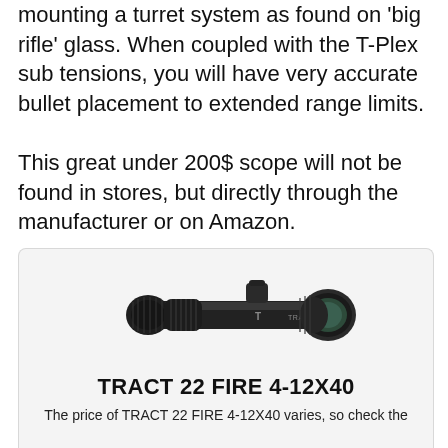mounting a turret system as found on 'big rifle' glass. When coupled with the T-Plex sub tensions, you will have very accurate bullet placement to extended range limits.
This great under 200$ scope will not be found in stores, but directly through the manufacturer or on Amazon.
[Figure (photo): Photo of a TRACT 22 FIRE 4-12X40 rifle scope, black, shown horizontally against a light grey background.]
TRACT 22 FIRE 4-12X40
The price of TRACT 22 FIRE 4-12X40 varies, so check the